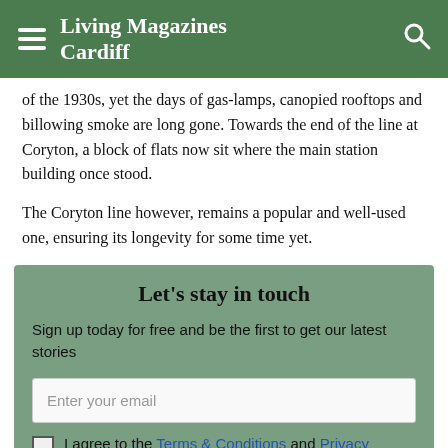Living Magazines Cardiff
of the 1930s, yet the days of gas-lamps, canopied rooftops and billowing smoke are long gone. Towards the end of the line at Coryton, a block of flats now sit where the main station building once stood.
The Coryton line however, remains a popular and well-used one, ensuring its longevity for some time yet.
Let's stay in touch
Sign up today for free and be the first to get our latest stories
Enter your email
I agree to the Terms & Conditions and Privacy